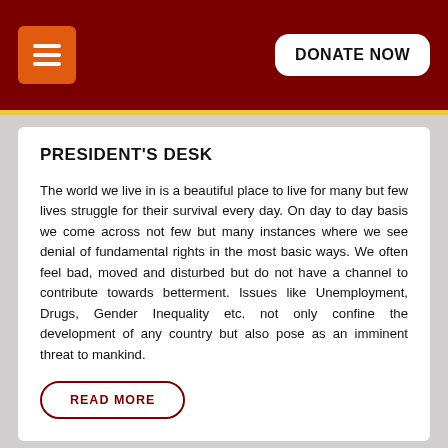DONATE NOW
PRESIDENT'S DESK
The world we live in is a beautiful place to live for many but few lives struggle for their survival every day. On day to day basis we come across not few but many instances where we see denial of fundamental rights in the most basic ways. We often feel bad, moved and disturbed but do not have a channel to contribute towards betterment. Issues like Unemployment, Drugs, Gender Inequality etc. not only confine the development of any country but also pose as an imminent threat to mankind.
READ MORE